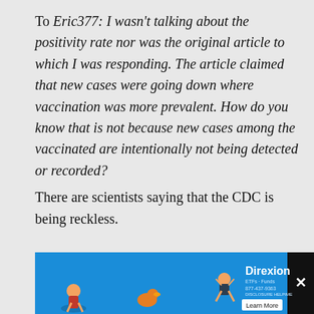To Eric377: I wasn't talking about the positivity rate nor was the original article to which I was responding. The article claimed that new cases were going down where vaccination was more prevalent. How do you know that is not because new cases among the vaccinated are intentionally not being detected or recorded? There are scientists saying that the CDC is being reckless.
[Figure (other): Advertisement banner for Direxion with blue background, illustrated characters, brand name, Learn More button, and close X button]